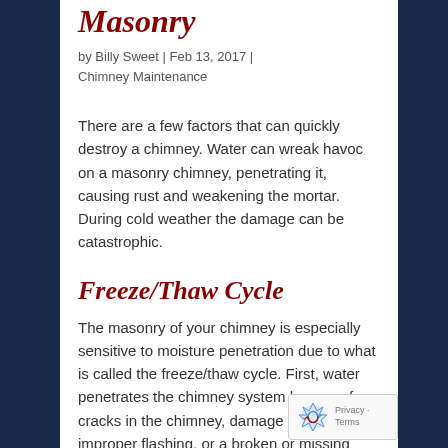Masonry
by Billy Sweet | Feb 13, 2017 | Chimney Maintenance
There are a few factors that can quickly destroy a chimney. Water can wreak havoc on a masonry chimney, penetrating it, causing rust and weakening the mortar. During cold weather the damage can be catastrophic.
Freeze/Thaw Cycle
The masonry of your chimney is especially sensitive to moisture penetration due to what is called the freeze/thaw cycle. First, water penetrates the chimney system by way of cracks in the chimney, damage to the crown, improper flashing, or a broken or missing cap. Once water is